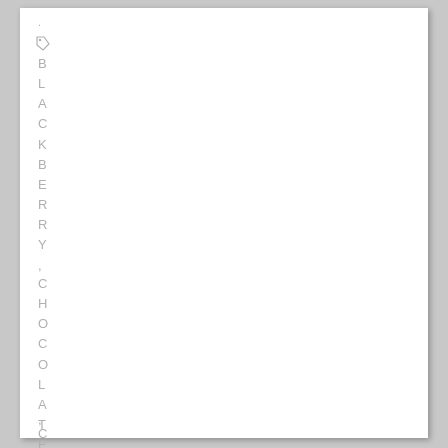.
BLACKBERRY , CHOCOLATE , CHOCOLO...